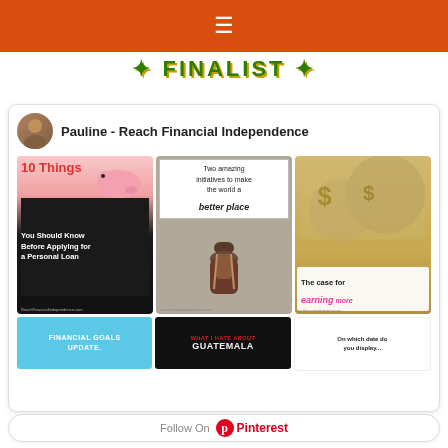≡ (hamburger menu)
FINALIST
Pauline - Reach Financial Independence
[Figure (screenshot): Pinterest board for Pauline - Reach Financial Independence showing 6 pin thumbnails: '10 Things You Should Know Before Applying for a Personal Loan', 'Two amazing initiatives to make the world a better place', 'The case for earning more', 'FINANCIAL GOALS UPDATE.', 'WHAT I HATE ABOUT GUATEMALA', 'On which date do you display...']
Follow On Pinterest